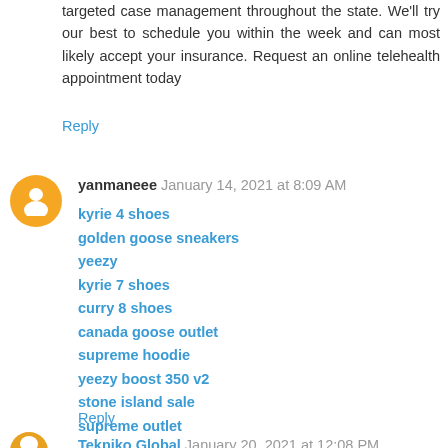targeted case management throughout the state. We'll try our best to schedule you within the week and can most likely accept your insurance. Request an online telehealth appointment today
Reply
yanmaneee  January 14, 2021 at 8:09 AM
kyrie 4 shoes
golden goose sneakers
yeezy
kyrie 7 shoes
curry 8 shoes
canada goose outlet
supreme hoodie
yeezy boost 350 v2
stone island sale
supreme outlet
Reply
Tekniko Global  January 20, 2021 at 12:08 PM